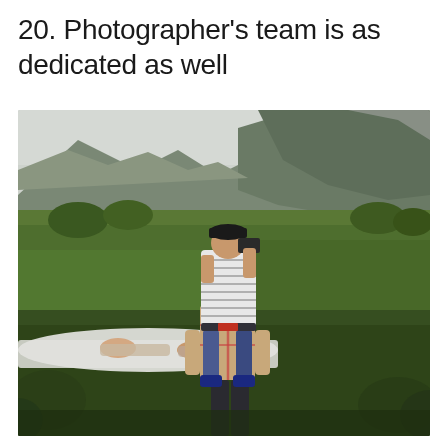20. Photographer's team is as dedicated as well
[Figure (photo): Outdoor photo showing a photographer sitting on someone's shoulders to get an elevated shot in a lush green field, with limestone karst mountains in the background. Two people are lying on a white sheet on the ground in the foreground. Green ferns and vegetation surround the scene.]